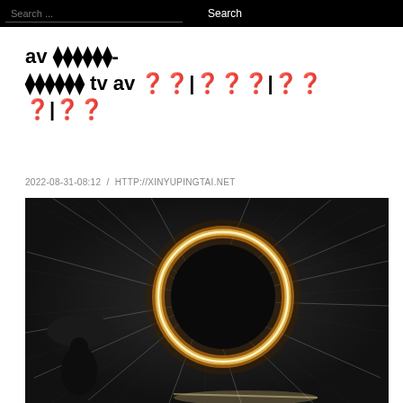Search ... Search
av ◆◆◆◆◆◆- ◆◆◆◆◆◆ tv av 无码|高清码|无码|高码
2022-08-31-08:12 / HTTP://XINYUPINGTAI.NET
[Figure (photo): Long exposure light painting photograph showing a glowing circular ring of golden/white light trails against a dark background, with a person sitting with an umbrella silhouetted on the left side, and sparks radiating outward]